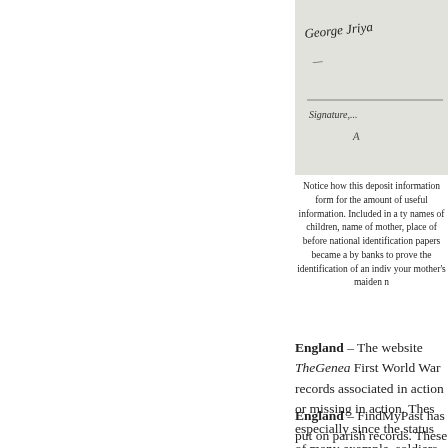[Figure (photo): Handwritten signature on a document form, with cursive text and the word 'Signature' printed below]
Notice how this deposit information form for the amount of useful information. Included in a ty names of children, name of mother, place of before national identification papers became a by banks to prove the identification of an indiv your mother's maiden n
England – The website TheGenea First World War records associated in action or missing in action. Thes especially since the status of many example, soldiers that were initiall sometimes had their status later ch Access to this collection is by subs Action Records]
England – FindMyPast has put on parish records. These records were